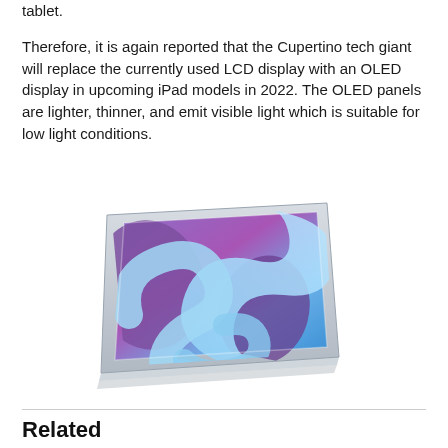tablet.
Therefore, it is again reported that the Cupertino tech giant will replace the currently used LCD display with an OLED display in upcoming iPad models in 2022. The OLED panels are lighter, thinner, and emit visible light which is suitable for low light conditions.
[Figure (photo): iPad Air shown in perspective view with a blue/purple swirling abstract wallpaper on its display, viewed from a slight angle with a thin silver/white frame]
Related